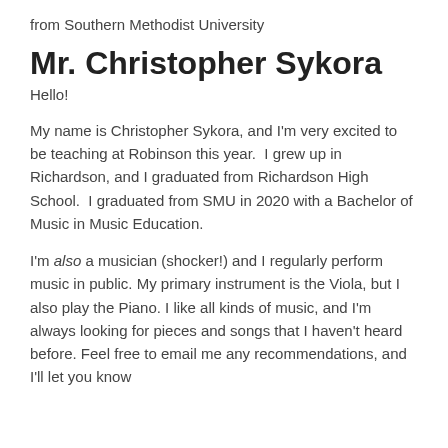from Southern Methodist University
Mr. Christopher Sykora
Hello!
My name is Christopher Sykora, and I'm very excited to be teaching at Robinson this year.  I grew up in Richardson, and I graduated from Richardson High School.  I graduated from SMU in 2020 with a Bachelor of Music in Music Education.
I'm also a musician (shocker!) and I regularly perform music in public. My primary instrument is the Viola, but I also play the Piano. I like all kinds of music, and I'm always looking for pieces and songs that I haven't heard before. Feel free to email me any recommendations, and I'll let you know